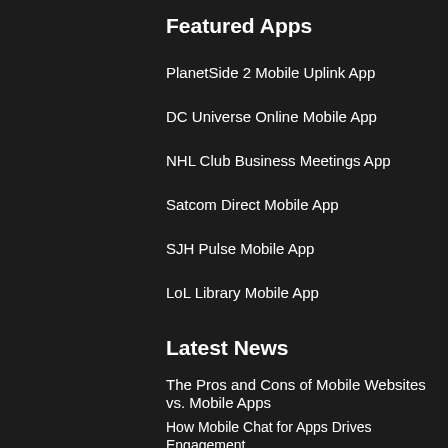Featured Apps
PlanetSide 2 Mobile Uplink App
DC Universe Online Mobile App
NHL Club Business Meetings App
Satcom Direct Mobile App
SJH Pulse Mobile App
LoL Library Mobile App
Latest News
The Pros and Cons of Mobile Websites vs. Mobile Apps
How Mobile Chat for Apps Drives Engagement
Key Insights from Mobile App Analytics
[Figure (logo): AppBurst logo with orange gear/burst icon and text 'appburst' in white, with tagline below]
AppBurst is a mobile apps as a service